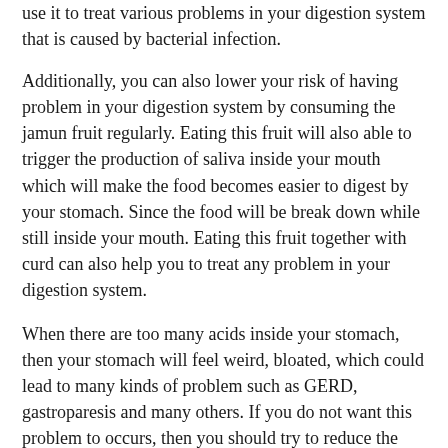use it to treat various problems in your digestion system that is caused by bacterial infection.
Additionally, you can also lower your risk of having problem in your digestion system by consuming the jamun fruit regularly. Eating this fruit will also able to trigger the production of saliva inside your mouth which will make the food becomes easier to digest by your stomach. Since the food will be break down while still inside your mouth. Eating this fruit together with curd can also help you to treat any problem in your digestion system.
When there are too many acids inside your stomach, then your stomach will feel weird, bloated, which could lead to many kinds of problem such as GERD, gastroparesis and many others. If you do not want this problem to occurs, then you should try to reduce the amount of gas inside your stomach. And this jamun fruit can do that job properly. You need to make an herbal medicine which consist of mixture of jamun fruit, cumin powder that is roasted, along with black salt.
2. Diabetes
If you are suffering from diabetes, then it is related for you to...